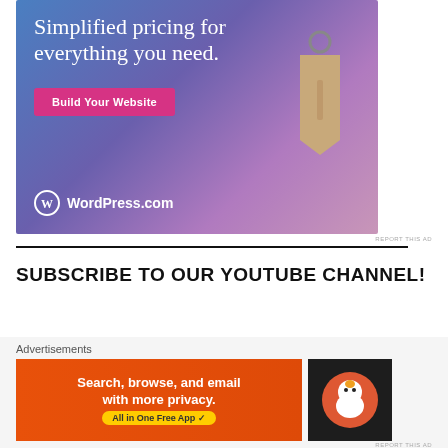[Figure (illustration): WordPress.com advertisement with gradient blue-purple background showing a price tag graphic, headline 'Simplified pricing for everything you need.', a pink 'Build Your Website' button, and WordPress.com logo.]
REPORT THIS AD
SUBSCRIBE TO OUR YOUTUBE CHANNEL!
[Figure (illustration): Partial circular YouTube channel icon visible at bottom left.]
[Figure (illustration): DuckDuckGo advertisement. Orange background with text 'Search, browse, and email with more privacy. All in One Free App' and DuckDuckGo duck logo on dark background.]
Advertisements
REPORT THIS AD